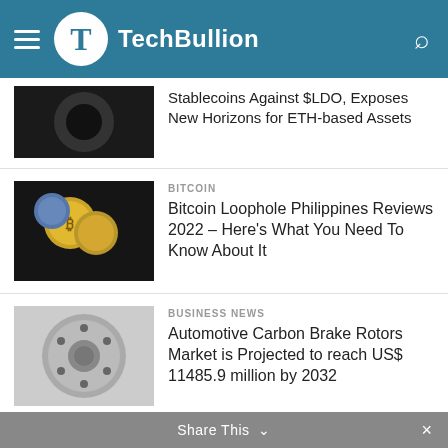TechBullion
Stablecoins Against $LDO, Exposes New Horizons for ETH-based Assets
BITCOIN
Bitcoin Loophole Philippines Reviews 2022 – Here's What You Need To Know About It
BUSINESS NEWS
Automotive Carbon Brake Rotors Market is Projected to reach US$ 11485.9 million by 2032
LATEST NEWS
Watch “Joshua Vs Uzyk 2” (Free) Live Online Reddit Alternatives? – Here’s How
Share This ⌄  ×